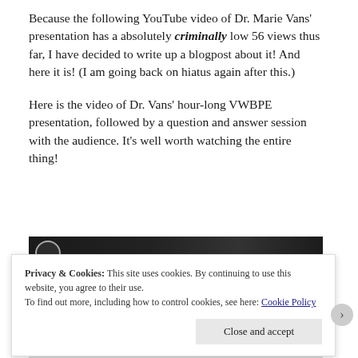Because the following YouTube video of Dr. Marie Vans' presentation has a absolutely criminally low 56 views thus far, I have decided to write up a blogpost about it! And here it is! (I am going back on hiatus again after this.)
Here is the video of Dr. Vans' hour-long VWBPE presentation, followed by a question and answer session with the audience. It's well worth watching the entire thing!
[Figure (screenshot): YouTube video thumbnail showing a dark video frame with partial view of presenter]
Privacy & Cookies: This site uses cookies. By continuing to use this website, you agree to their use.
To find out more, including how to control cookies, see here: Cookie Policy
Close and accept